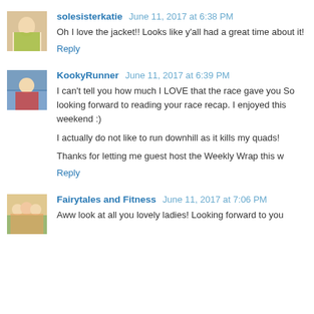[Figure (photo): Avatar photo of solesisterkatie - person in running gear]
solesisterkatie June 11, 2017 at 6:38 PM
Oh I love the jacket!! Looks like y'all had a great time about it!
Reply
[Figure (photo): Avatar photo of KookyRunner - person outdoors]
KookyRunner June 11, 2017 at 6:39 PM
I can't tell you how much I LOVE that the race gave you So looking forward to reading your race recap. I enjoyed this weekend :)
I actually do not like to run downhill as it kills my quads!
Thanks for letting me guest host the Weekly Wrap this w
Reply
[Figure (photo): Avatar photo of Fairytales and Fitness - group of people]
Fairytales and Fitness June 11, 2017 at 7:06 PM
Aww look at all you lovely ladies! Looking forward to you